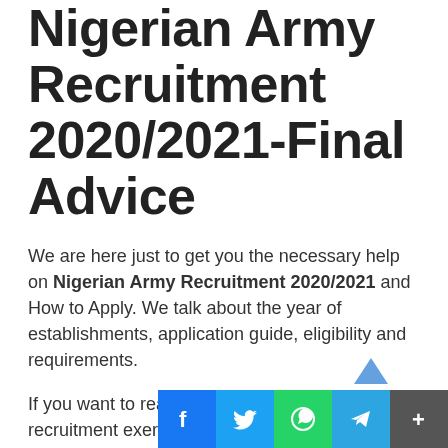Nigerian Army Recruitment 2020/2021-Final Advice
We are here just to get you the necessary help on Nigerian Army Recruitment 2020/2021 and How to Apply. We talk about the year of establishments, application guide, eligibility and requirements.
If you want to really make it during the recruitment exercise, there are things you should do in order not to lose it. In the same vain there are things that may endanger your recruitment. We will-those are listed below.